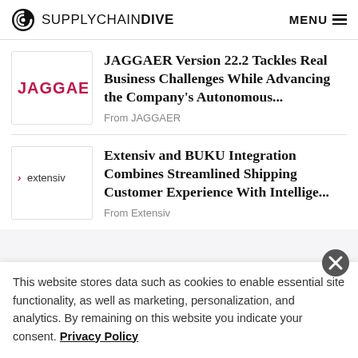SUPPLYCHAIN DIVE  MENU
[Figure (logo): JAGGAER company logo in a white box]
JAGGAER Version 22.2 Tackles Real Business Challenges While Advancing the Company's Autonomous...
From JAGGAER
[Figure (logo): Extensiv company logo in a white box]
Extensiv and BUKU Integration Combines Streamlined Shipping Customer Experience With Intellige...
From Extensiv
This website stores data such as cookies to enable essential site functionality, as well as marketing, personalization, and analytics. By remaining on this website you indicate your consent. Privacy Policy